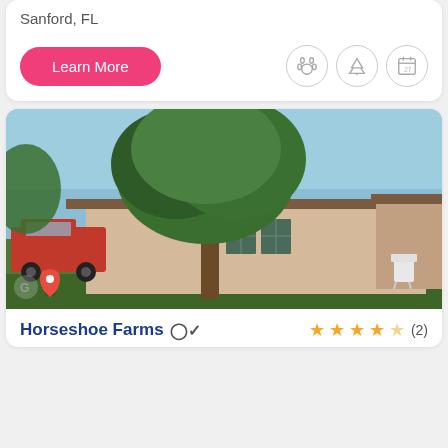Sanford, FL
Learn More
[Figure (photo): Exterior photo of a single-story residential/farm building with a large green tree in front, red vehicle on the left, and a white chair on the right. Google Maps street view with location pin overlay at bottom left.]
Horseshoe Farms (2)